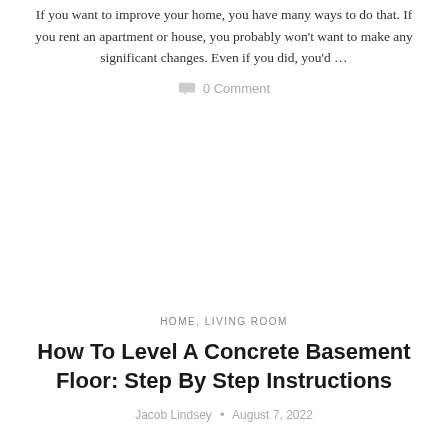If you want to improve your home, you have many ways to do that. If you rent an apartment or house, you probably won't want to make any significant changes. Even if you did, you'd ...
0 Comment
HOME, LIVING ROOM
How To Level A Concrete Basement Floor: Step By Step Instructions
Jacob Lindsey • August 7, 2022